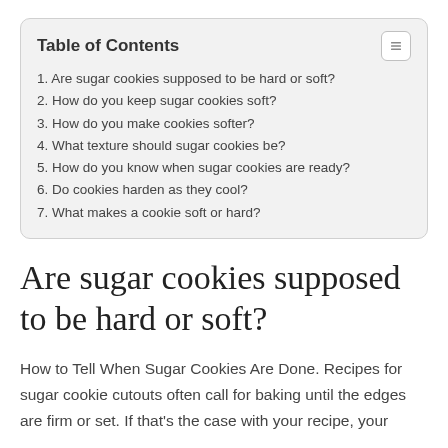Table of Contents
1. Are sugar cookies supposed to be hard or soft?
2. How do you keep sugar cookies soft?
3. How do you make cookies softer?
4. What texture should sugar cookies be?
5. How do you know when sugar cookies are ready?
6. Do cookies harden as they cool?
7. What makes a cookie soft or hard?
Are sugar cookies supposed to be hard or soft?
How to Tell When Sugar Cookies Are Done. Recipes for sugar cookie cutouts often call for baking until the edges are firm or set. If that’s the case with your recipe, your